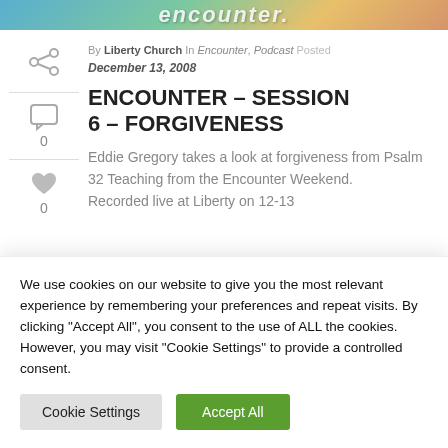[Figure (photo): Banner image with text overlay partially visible at top of page]
By Liberty Church In Encounter, Podcast Posted December 13, 2008
ENCOUNTER – SESSION 6 – FORGIVENESS
Eddie Gregory takes a look at forgiveness from Psalm 32 Teaching from the Encounter Weekend. Recorded live at Liberty on 12-13...
We use cookies on our website to give you the most relevant experience by remembering your preferences and repeat visits. By clicking "Accept All", you consent to the use of ALL the cookies. However, you may visit "Cookie Settings" to provide a controlled consent.